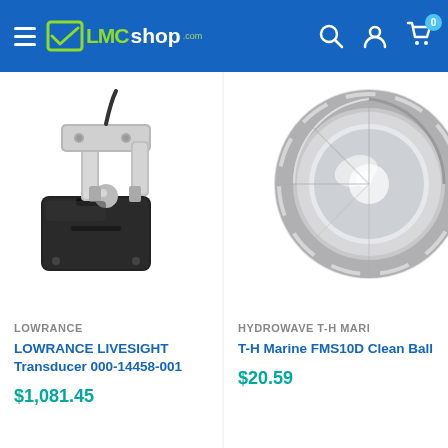LMCshop.com — navigation header with hamburger menu, logo, search, account, and cart icons
[Figure (photo): Lowrance LiveSight Transducer 000-14458-001 product photo — a stainless steel and black plastic transom-mount transducer with mounting bracket and cable]
LOWRANCE
LOWRANCE LIVESIGHT Transducer 000-14458-001
$1,081.45
[Figure (photo): T-H Marine FMS10D Clean Ball Scupper product photo — a round chrome/clear scupper drain fitting, partially cropped on the right]
HYDROWAVE T-H MARI
T-H Marine FMS10D Clean Ball Scupper
$20.59